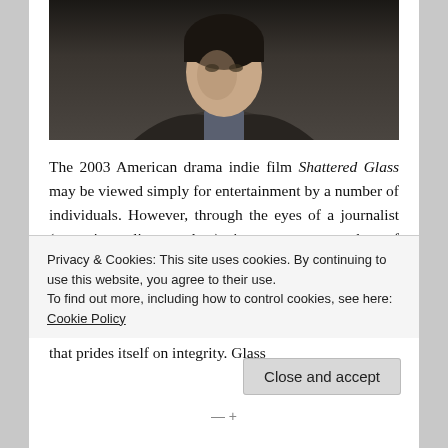[Figure (photo): Black and white or dark-toned close-up photo of a young man from shoulders up, wearing a dark jacket, face partially visible at bottom of frame, dark background]
The 2003 American drama indie film Shattered Glass may be viewed simply for entertainment by a number of individuals. However, through the eyes of a journalist (or a journalism student), it prompts a number of observations.
The film tells the story of a young reporter, Stephen Glass, who writes for The New Republic, a magazine that prides itself on integrity. Glass
Privacy & Cookies: This site uses cookies. By continuing to use this website, you agree to their use.
To find out more, including how to control cookies, see here:
Cookie Policy
Close and accept